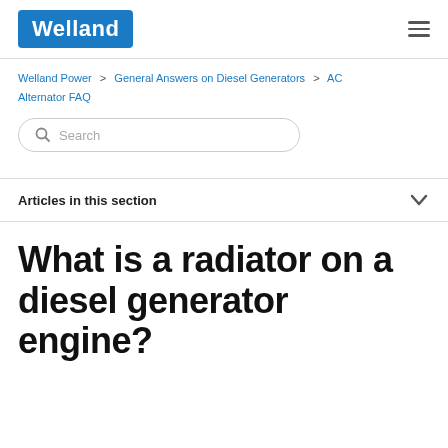Welland
Welland Power > General Answers on Diesel Generators > AC Alternator FAQ
Search
Articles in this section
What is a radiator on a diesel generator engine?